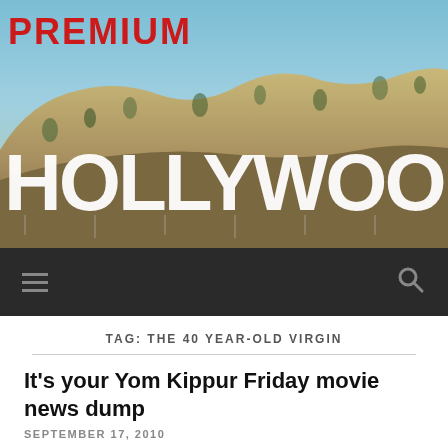[Figure (photo): Hollywood sign on hillside with blue sky background, 'PREMIUM' text in red at top left]
≡  🔍
TAG: THE 40 YEAR-OLD VIRGIN
It's your Yom Kippur Friday movie news dump
SEPTEMBER 17, 2010
Yom Kippur is the holiday where one abstains from worldly pleasures of all kinds, including eating and drinking, and reflects on spiritual and moral values, atoning for one's sins, and becoming a better person. In